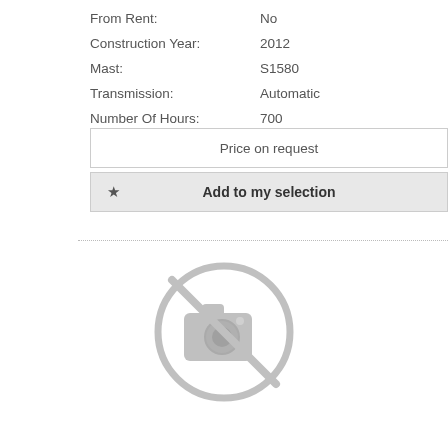From Rent: No
Construction Year: 2012
Mast: S1580
Transmission: Automatic
Number Of Hours: 700
Price on request
Add to my selection
[Figure (other): No photo available icon — a camera symbol with a diagonal line through it inside a circle, rendered in light grey]